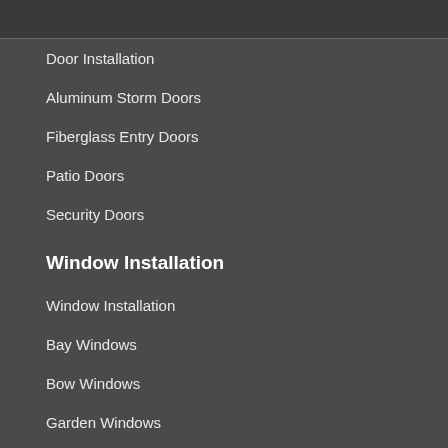Door Installation
Aluminum Storm Doors
Fiberglass Entry Doors
Patio Doors
Security Doors
Window Installation
Window Installation
Bay Windows
Bow Windows
Garden Windows
Glass Block Windows